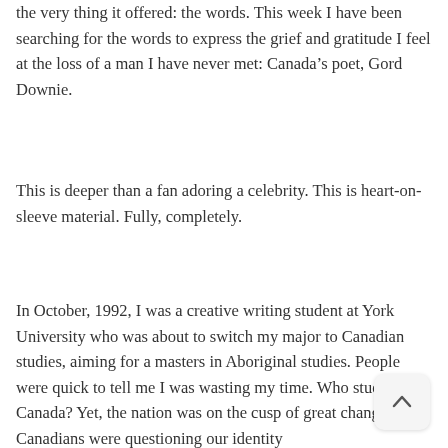the very thing it offered: the words. This week I have been searching for the words to express the grief and gratitude I feel at the loss of a man I have never met: Canada’s poet, Gord Downie.
This is deeper than a fan adoring a celebrity. This is heart-on- sleeve material. Fully, completely.
In October, 1992, I was a creative writing student at York University who was about to switch my major to Canadian studies, aiming for a masters in Aboriginal studies. People were quick to tell me I was wasting my time. Who studies Canada? Yet, the nation was on the cusp of great changes. Canadians were questioning our identity